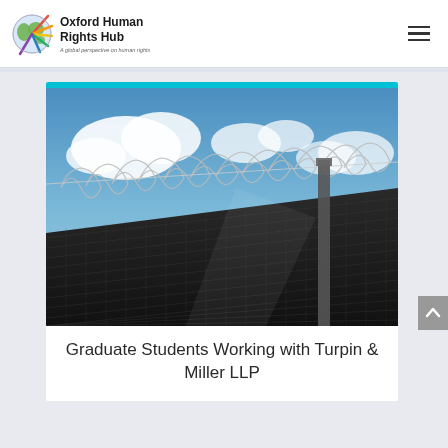Oxford Human Rights Hub — A global perspective on human rights
[Figure (photo): Close-up photo looking up at razor wire / concertina wire coiled along the top of a dark metal mesh fence or prison wall, against a blue sky with white clouds]
Graduate Students Working with Turpin & Miller LLP